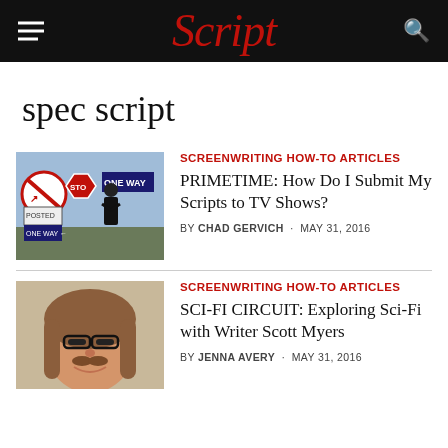Script
spec script
[Figure (photo): Person standing in front of road signs including no right turn, stop, one way, posted, and tour signs]
SCREENWRITING HOW-TO ARTICLES
PRIMETIME: How Do I Submit My Scripts to TV Shows?
BY CHAD GERVICH · MAY 31, 2016
[Figure (photo): Portrait of a smiling man with long hair and glasses]
SCREENWRITING HOW-TO ARTICLES
SCI-FI CIRCUIT: Exploring Sci-Fi with Writer Scott Myers
BY JENNA AVERY · MAY 31, 2016